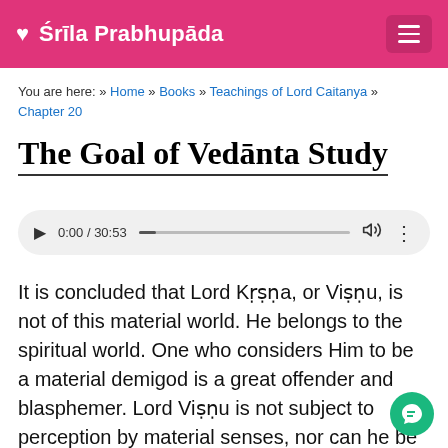♥ Śrīla Prabhupāda
You are here: » Home » Books » Teachings of Lord Caitanya » Chapter 20
The Goal of Vedānta Study
[Figure (other): Audio player showing 0:00 / 30:53 with play button, progress bar, volume and options icons]
It is concluded that Lord Kṛṣṇa, or Viṣṇu, is not of this material world. He belongs to the spiritual world. One who considers Him to be a material demigod is a great offender and blasphemer. Lord Viṣṇu is not subject to perception by material senses, nor can he be realized by mental speculation. There is no